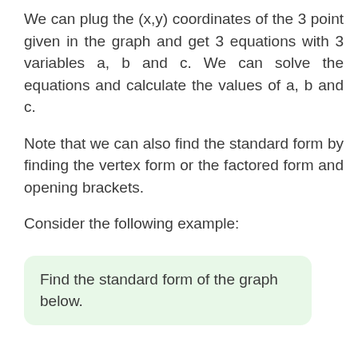We can plug the (x,y) coordinates of the 3 point given in the graph and get 3 equations with 3 variables a, b and c. We can solve the equations and calculate the values of a, b and c.
Note that we can also find the standard form by finding the vertex form or the factored form and opening brackets.
Consider the following example:
Find the standard form of the graph below.